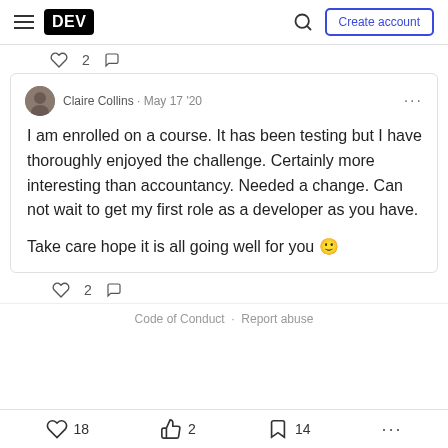DEV — Create account
♡ 2 ○
Claire Collins · May 17 '20
I am enrolled on a course. It has been testing but I have thoroughly enjoyed the challenge. Certainly more interesting than accountancy. Needed a change. Can not wait to get my first role as a developer as you have.

Take care hope it is all going well for you 🙂
♡ 2 ○
Code of Conduct · Report abuse
♡ 18   2   14   ...